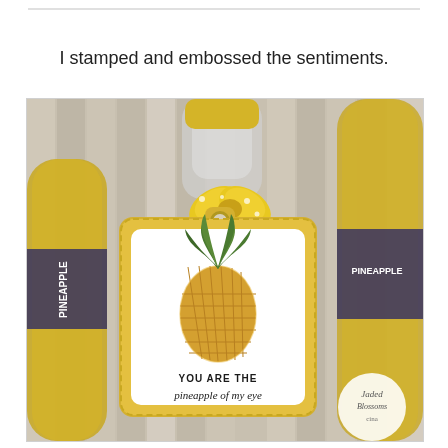I stamped and embossed the sentiments.
[Figure (photo): Photo of a handmade gift tag with a pineapple illustration and the text 'YOU ARE THE pineapple of my eye', attached with a yellow polka-dot ribbon to a pineapple-flavored soda bottle. The tag has a zigzag yellow border. A Jaded Blossom watermark logo appears in the bottom right.]